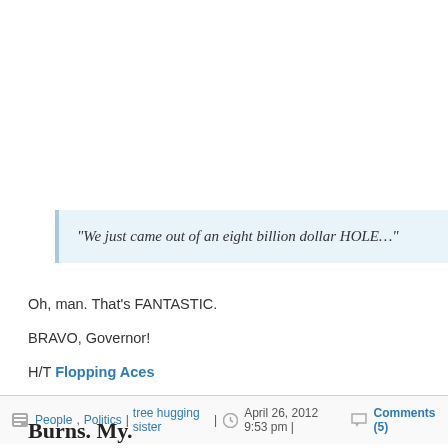“We just came out of an eight billion dollar HOLE…”
Oh, man. That’s FANTASTIC.
BRAVO, Governor!
H/T Flopping Aces
People, Politics | tree hugging sister | April 26, 2012 9:53 pm | Comments (5)
Burns. My.